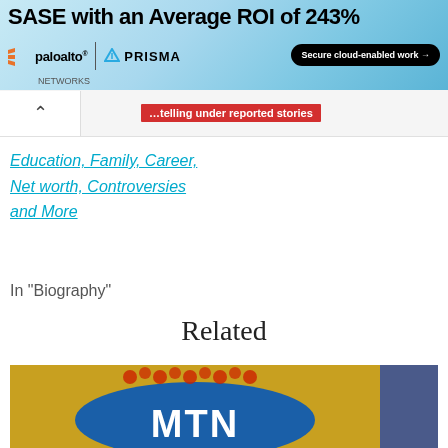[Figure (screenshot): Palo Alto Networks SASE advertisement banner with text 'SASE with an Average ROI of 243%', Palo Alto Networks Prisma logo, and 'Secure cloud-enabled work' button]
[Figure (screenshot): Website navigation bar with back arrow, red tag label and '...telling under reported stories' tagline in red]
Education, Family, Career, Net worth, Controversies and More
In "Biography"
Related
[Figure (photo): MTN logo on yellow and blue background]